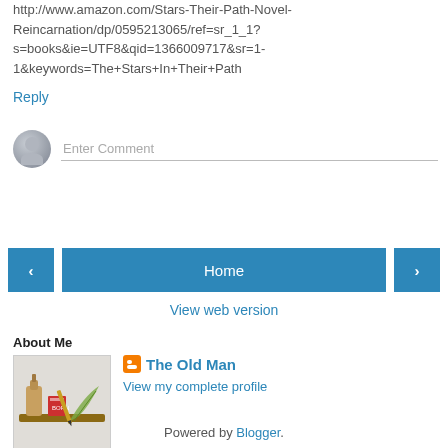http://www.amazon.com/Stars-Their-Path-Novel-Reincarnation/dp/0595213065/ref=sr_1_1?s=books&ie=UTF8&qid=1366009717&sr=1-1&keywords=The+Stars+In+Their+Path
Reply
Enter Comment
Home
View web version
About Me
[Figure (illustration): Profile photo showing a illustrated image with cartoon characters]
The Old Man
View my complete profile
Powered by Blogger.